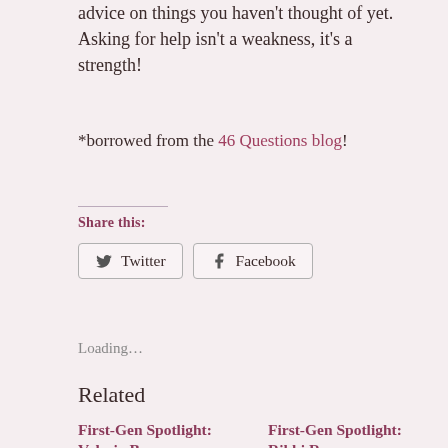advice on things you haven't thought of yet. Asking for help isn't a weakness, it's a strength!
*borrowed from the 46 Questions blog!
Share this:
Loading...
Related
First-Gen Spotlight: Valeria Barra
First-Gen Spotlight: Rikki Roscoe